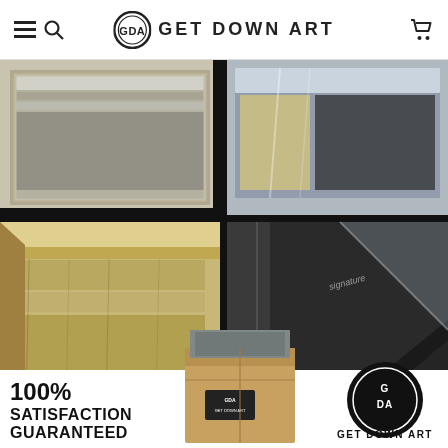GET DOWN ART — navigation header with menu, search, logo, and cart icons
[Figure (photo): Composite product image showing four quadrant photos of framed canvas art packaging (wrapped canvas corners, wooden stretcher bars, plastic-wrapped frames) arranged with a large plus/cross symbol overlay. Bottom section shows: left — bold text '100% SATISFACTION GUARANTEED', center — a cardboard shipping box with GET DOWN ART label, right — GET DOWN ART circular logo and brand name.]